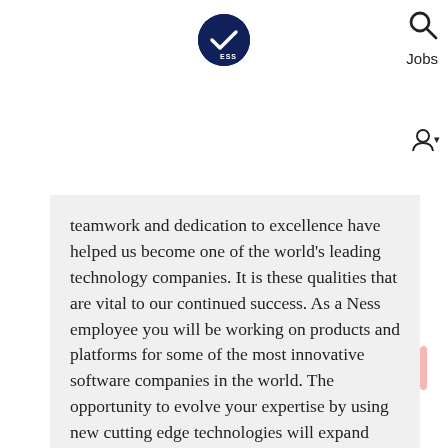[Figure (logo): Ness ESS company logo — dark navy circle with white checkmark and 'ESS' text]
Jobs
teamwork and dedication to excellence have helped us become one of the world's leading technology companies. It is these qualities that are vital to our continued success. As a Ness employee you will be working on products and platforms for some of the most innovative software companies in the world. The opportunity to evolve your expertise by using new cutting edge technologies will expand your horizons and create an exciting work environment. You'll also gain enormous knowledge working alongside other highly skilled professionals that will help accelerate